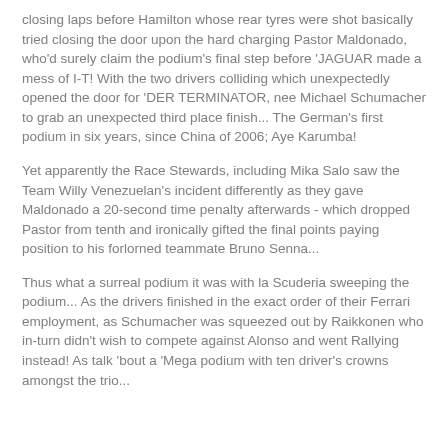closing laps before Hamilton whose rear tyres were shot basically tried closing the door upon the hard charging Pastor Maldonado, who'd surely claim the podium's final step before ‘JAGUAR made a mess of I-T! With the two drivers colliding which unexpectedly opened the door for ‘DER TERMINATOR, nee Michael Schumacher to grab an unexpected third place finish... The German’s first podium in six years, since China of 2006; Aye Karumba!
Yet apparently the Race Stewards, including Mika Salo saw the Team Willy Venezuelan’s incident differently as they gave Maldonado a 20-second time penalty afterwards - which dropped Pastor from tenth and ironically gifted the final points paying position to his forlorned teammate Bruno Senna...
Thus what a surreal podium it was with la Scuderia sweeping the podium... As the drivers finished in the exact order of their Ferrari employment, as Schumacher was squeezed out by Raikkonen who in-turn didn’t wish to compete against Alonso and went Rallying instead! As talk ‘bout a ‘Mega podium with ten driver’s crowns amongst the trio...